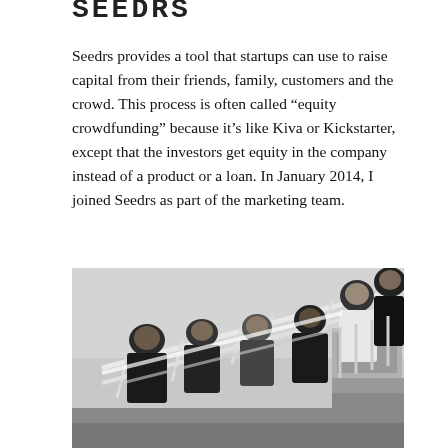SEEDRS
Seedrs provides a tool that startups can use to raise capital from their friends, family, customers and the crowd. This process is often called “equity crowdfunding” because it’s like Kiva or Kickstarter, except that the investors get equity in the company instead of a product or a loan. In January 2014, I joined Seedrs as part of the marketing team.
[Figure (photo): Black and white photograph taken from below looking up at a group of six people leaning over a metal railing/staircase structure, smiling and posing for the camera against a light grey sky background.]